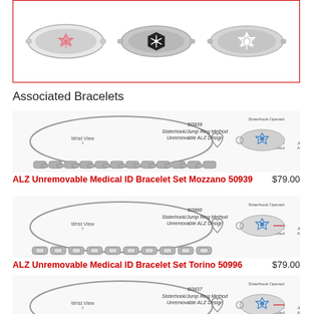[Figure (photo): Three medical ID tag styles shown in a red-bordered box: one with pink star-of-life emblem, one with black emblem on hexagon, one with white emblem]
Associated Bracelets
[Figure (photo): ALZ Unremovable Medical ID Bracelet Set Mozzano 50939 - curb chain bracelet with diagram showing Sisterhook/Jump Ring Method Unremovable ALZ Design with blue star-of-life tag]
ALZ Unremovable Medical ID Bracelet Set Mozzano 50939	$79.00
[Figure (photo): ALZ Unremovable Medical ID Bracelet Set Torino 50996 - fancy link bracelet with diagram showing Sisterhook/Jump Ring Method Unremovable ALZ Design with blue star-of-life tag]
ALZ Unremovable Medical ID Bracelet Set Torino 50996	$79.00
[Figure (photo): ALZ Unremovable Medical ID Bracelet Set - item 50937 - another style bracelet with diagram showing Sisterhook/Jump Ring Method Unremovable ALZ Design]